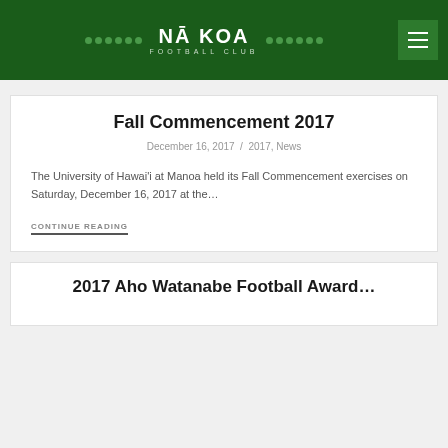NĀ KOA FOOTBALL CLUB
Fall Commencement 2017
December 16, 2017 / 2017, News
The University of Hawai'i at Manoa held its Fall Commencement exercises on Saturday, December 16, 2017 at the…
CONTINUE READING
2017 Aho Watanabe Football Award…